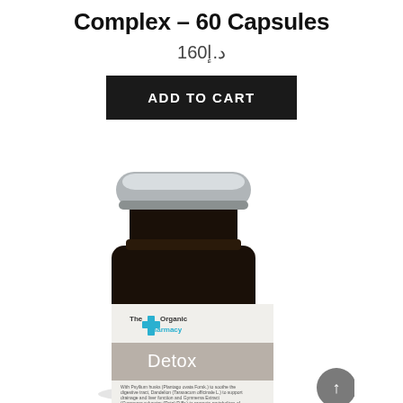Complex – 60 Capsules
د.إ160
ADD TO CART
[Figure (photo): Dark glass supplement bottle with silver cap, labeled 'The Organic Pharmacy Detox' with small print listing ingredients including Psyllium husks, Dandelion, and Gymnema Extract.]